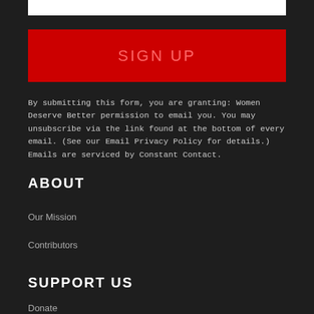[Figure (other): White input bar at top of page]
[Figure (other): Red SIGN UP button]
By submitting this form, you are granting: Women Deserve Better permission to email you. You may unsubscribe via the link found at the bottom of every email. (See our Email Privacy Policy for details.) Emails are serviced by Constant Contact.
ABOUT
Our Mission
Contributors
SUPPORT US
Donate